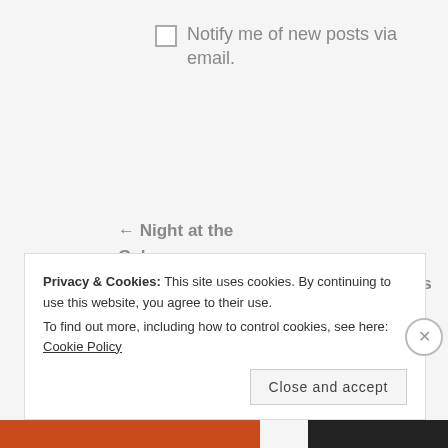Notify me of new posts via email.
← Night at the Gala
How to Wear High-Waisted Flare Jeans →
[Figure (other): Social media icons: Facebook, Twitter, Instagram, Pinterest]
Privacy & Cookies: This site uses cookies. By continuing to use this website, you agree to their use.
To find out more, including how to control cookies, see here: Cookie Policy
Close and accept